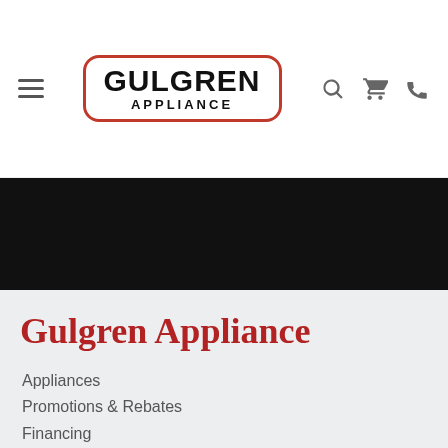Gulgren Appliance — site header with logo, hamburger menu, search, cart, and phone icons
[Figure (screenshot): Red button labeled SIGN ME UP on a black background banner]
Gulgren Appliance
Appliances
Promotions & Rebates
Financing
Shop by Brand
Services
About Us